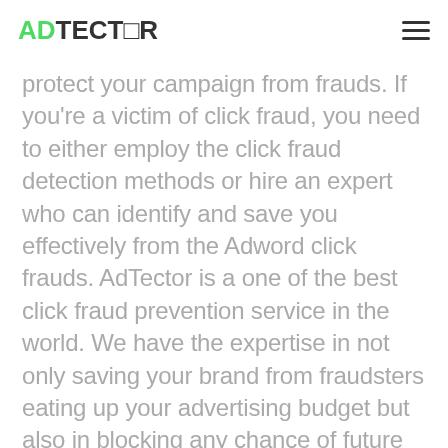ADTECTOR
protect your campaign from frauds. If you're a victim of click fraud, you need to either employ the click fraud detection methods or hire an expert who can identify and save you effectively from the Adword click frauds. AdTector is a one of the best click fraud prevention service in the world. We have the expertise in not only saving your brand from fraudsters eating up your advertising budget but also in blocking any chance of future suspicious clicks as well.